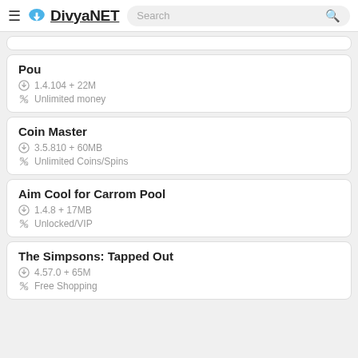DivyaNET — Search bar
Pou
1.4.104 + 22M
Unlimited money
Coin Master
3.5.810 + 60MB
Unlimited Coins/Spins
Aim Cool for Carrom Pool
1.4.8 + 17MB
Unlocked/VIP
The Simpsons: Tapped Out
4.57.0 + 65M
Free Shopping